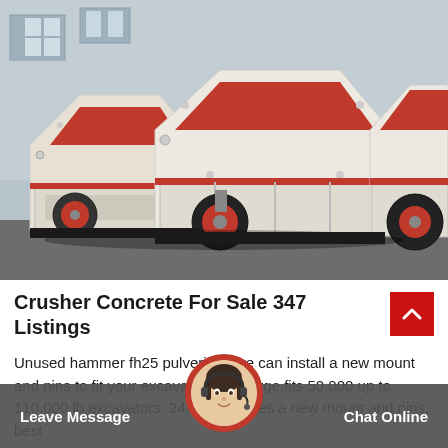[Figure (photo): Three large industrial impact crusher/hammer mill machines with white and red paint, black wheels, parked in front of a industrial building. Machines have open tops showing red interior liners.]
Crusher Concrete For Sale 347 Listings
Unused hammer fh25 pulverizer, we can install a new mount and pins to fit your excavator, no charge,fits 50,000 up to 110,000 lb excavators. 24,500 includes a new mount and pins, best